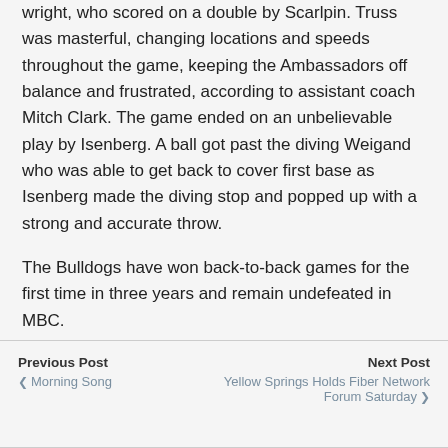wright, who scored on a double by Scarlpin. Truss was masterful, changing locations and speeds throughout the game, keeping the Ambassadors off balance and frustrated, according to assistant coach Mitch Clark. The game ended on an unbelievable play by Isenberg. A ball got past the diving Weigand who was able to get back to cover first base as Isenberg made the diving stop and popped up with a strong and accurate throw.
The Bulldogs have won back-to-back games for the first time in three years and remain undefeated in MBC.
Previous Post ‹ Morning Song | Next Post Yellow Springs Holds Fiber Network Forum Saturday ›